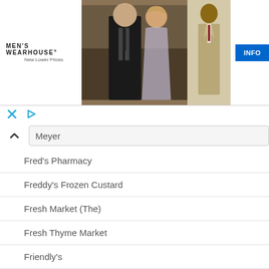[Figure (photo): Men's Wearhouse advertisement banner showing logo with 'New Lower Prices', a couple in formalwear (man in dark suit, woman in dress), a man in tan suit, and a blue INFO button]
Meyer
Fred's Pharmacy
Freddy's Frozen Custard
Fresh Market (The)
Fresh Thyme Market
Friendly's
Fry's Electronics
Fry's Food Stores
Fuddruckers
Furniture Row
Furniture World